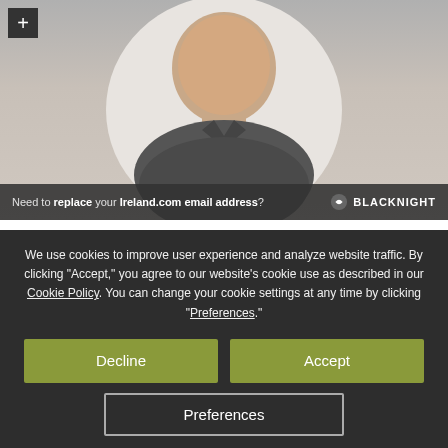[Figure (photo): A man in a dark grey polo shirt, shown from chest up against a white circular background. A dark banner at the bottom reads 'Need to replace your Ireland.com email address?' with the Blacknight logo on the right. A plus icon is in the top left corner.]
An Alternative To Ireland.com Email?
We use cookies to improve user experience and analyze website traffic. By clicking “Accept,” you agree to our website’s cookie use as described in our Cookie Policy. You can change your cookie settings at any time by clicking “Preferences.”